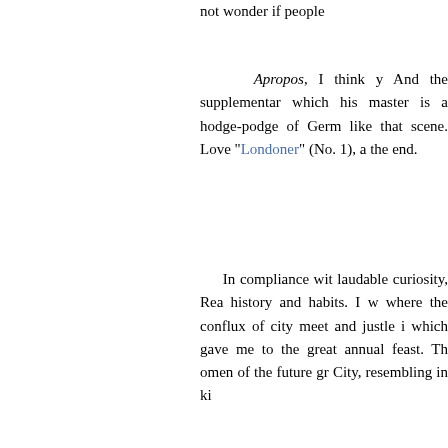not wonder if people
Apropos, I think y And the supplementary which his master is a hodge-podge of Germ like that scene. Love “Londoner” (No. 1), a the end.
In compliance wit laudable curiosity, Rea history and habits. I w where the conflux of city meet and justle i which gave me to the great annual feast. Th omen of the future gr City, resembling in ki